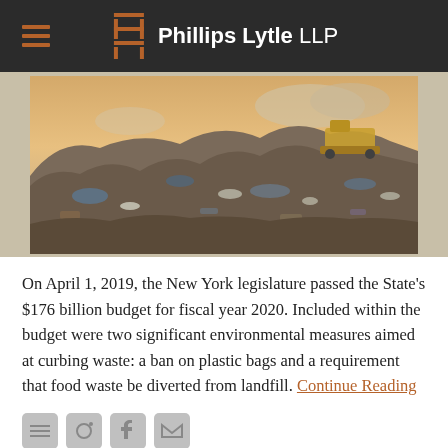Phillips Lytle LLP
[Figure (photo): Aerial view of a large landfill site with mountains of garbage and a bulldozer working in the background under a cloudy sky]
On April 1, 2019, the New York legislature passed the State's $176 billion budget for fiscal year 2020. Included within the budget were two significant environmental measures aimed at curbing waste: a ban on plastic bags and a requirement that food waste be diverted from landfill. Continue Reading